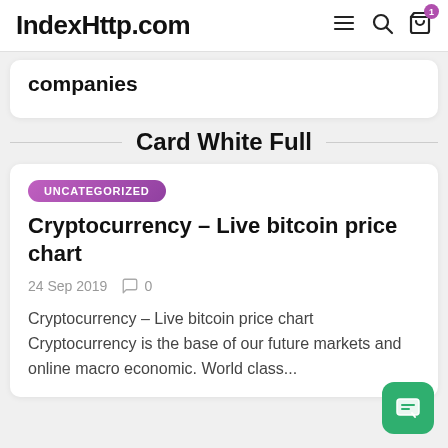IndexHttp.com
companies
Card White Full
UNCATEGORIZED
Cryptocurrency – Live bitcoin price chart
24 Sep 2019   0
Cryptocurrency – Live bitcoin price chart Cryptocurrency is the base of our future markets and online macro economic. World class...